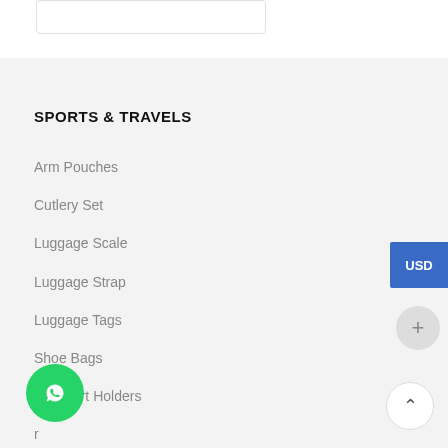SPORTS & TRAVELS
Arm Pouches
Cutlery Set
Luggage Scale
Luggage Strap
Luggage Tags
Shoe Bags
Passport Holders
r
Resistance Bands